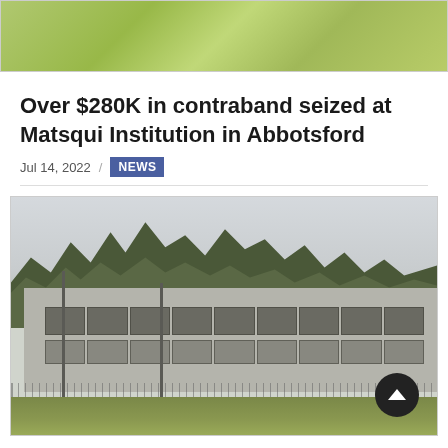[Figure (photo): Aerial or elevated view of green grass field at a facility, partial top image]
Over $280K in contraband seized at Matsqui Institution in Abbotsford
Jul 14, 2022  /  NEWS
[Figure (photo): Exterior view of Matsqui Institution in Abbotsford — a large concrete prison building with a chain-link fence in the foreground, trees and overcast sky in the background, green grass in foreground. A scroll-to-top button (dark circle with upward chevron) is visible in the lower right corner.]